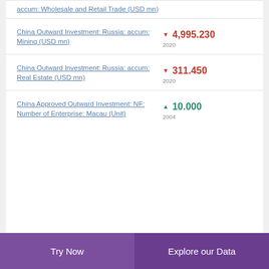accum: Wholesale and Retail Trade (USD mn)
China Outward Investment: Russia: accum: Mining (USD mn) ▼ 4,995.230 2020
China Outward Investment: Russia: accum: Real Estate (USD mn) ▼ 311.450 2020
China Approved Outward Investment: NF: Number of Enterprise: Macau (Unit) ▲ 10.000 2004
Try Now | Explore our Data